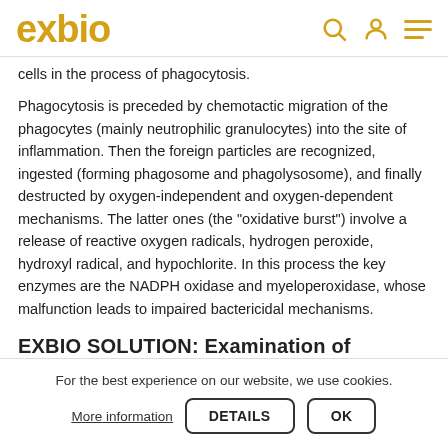exbio
cells in the process of phagocytosis.
Phagocytosis is preceded by chemotactic migration of the phagocytes (mainly neutrophilic granulocytes) into the site of inflammation. Then the foreign particles are recognized, ingested (forming phagosome and phagolysosome), and finally destructed by oxygen-independent and oxygen-dependent mechanisms. The latter ones (the "oxidative burst") involve a release of reactive oxygen radicals, hydrogen peroxide, hydroxyl radical, and hypochlorite. In this process the key enzymes are the NADPH oxidase and myeloperoxidase, whose malfunction leads to impaired bactericidal mechanisms.
EXBIO SOLUTION: Examination of
For the best experience on our website, we use cookies.
More information   DETAILS   OK